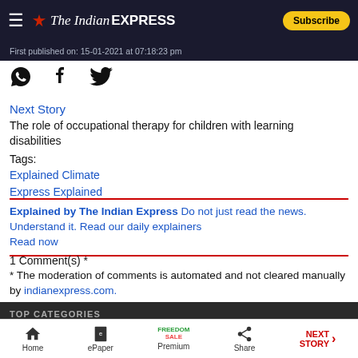The Indian Express — Subscribe
First published on: 15-01-2021 at 07:18:23 pm
[Figure (other): Social sharing icons: WhatsApp, Facebook, Twitter]
Next Story
The role of occupational therapy for children with learning disabilities
Tags:
Explained Climate
Express Explained
Explained by The Indian Express Do not just read the news. Understand it. Read our daily explainers Read now
1 Comment(s) *
* The moderation of comments is automated and not cleared manually by indianexpress.com.
TOP CATEGORIES
Explained News   Political Pulse
Home | ePaper | Premium | Share | NEXT STORY